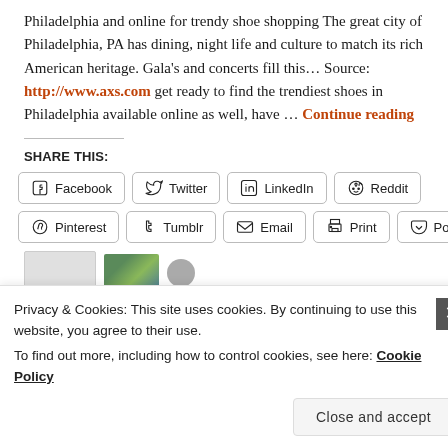Philadelphia and online for trendy shoe shopping The great city of Philadelphia, PA has dining, night life and culture to match its rich American heritage. Gala's and concerts fill this… Source: http://www.axs.com get ready to find the trendiest shoes in Philadelphia available online as well, have … Continue reading
SHARE THIS:
Facebook Twitter LinkedIn Reddit Pinterest Tumblr Email Print Pocket
Privacy & Cookies: This site uses cookies. By continuing to use this website, you agree to their use. To find out more, including how to control cookies, see here: Cookie Policy
Close and accept